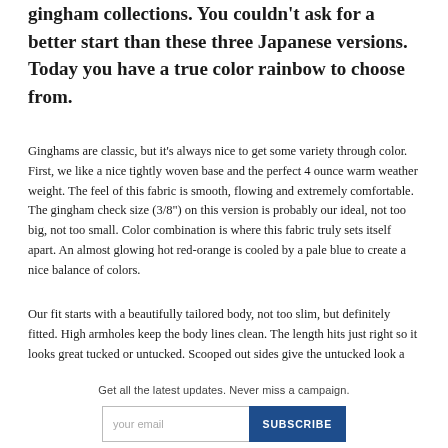gingham collections. You couldn't ask for a better start than these three Japanese versions. Today you have a true color rainbow to choose from.
Ginghams are classic, but it's always nice to get some variety through color. First, we like a nice tightly woven base and the perfect 4 ounce warm weather weight. The feel of this fabric is smooth, flowing and extremely comfortable. The gingham check size (3/8") on this version is probably our ideal, not too big, not too small. Color combination is where this fabric truly sets itself apart. An almost glowing hot red-orange is cooled by a pale blue to create a nice balance of colors.
Our fit starts with a beautifully tailored body, not too slim, but definitely fitted. High armholes keep the body lines clean. The length hits just right so it looks great tucked or untucked. Scooped out sides give the untucked look a bit of extra style. A traditional button down collar is secured with two side buttons
Get all the latest updates. Never miss a campaign.